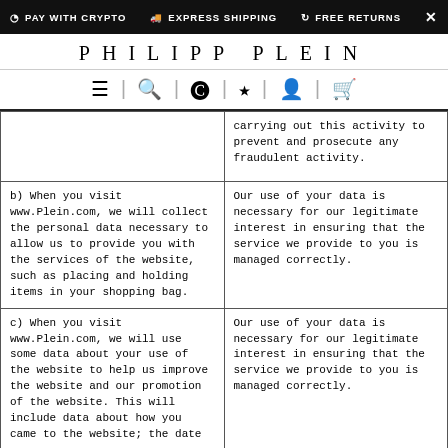PAY WITH CRYPTO  EXPRESS SHIPPING  FREE RETURNS  ×
PHILIPP PLEIN
[Figure (infographic): Navigation icon bar with hamburger menu, search, crypto coin, star/wishlist, account, and shopping bag icons separated by vertical bars]
|  | carrying out this activity to prevent and prosecute any fraudulent activity. |
| b) When you visit www.Plein.com, we will collect the personal data necessary to allow us to provide you with the services of the website, such as placing and holding items in your shopping bag. | Our use of your data is necessary for our legitimate interest in ensuring that the service we provide to you is managed correctly. |
| c) When you visit www.Plein.com, we will use some data about your use of the website to help us improve the website and our promotion of the website. This will include data about how you came to the website; the date | Our use of your data is necessary for our legitimate interest in ensuring that the service we provide to you is managed correctly. |